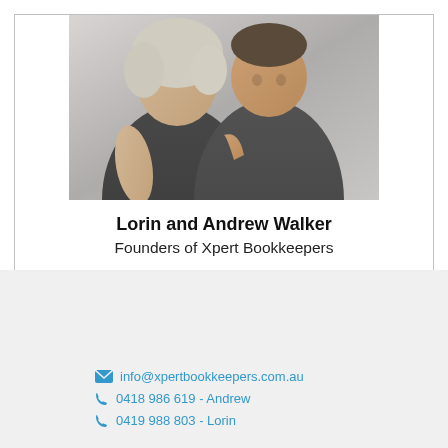[Figure (photo): Photo of Lorin and Andrew Walker, founders of Xpert Bookkeepers, two people posing together wearing dark polo shirts]
Lorin and Andrew Walker
Founders of Xpert Bookkeepers
✉ info@xpertbookkeepers.com.au
☎ 0418 986 619 - Andrew
☎ 0419 988 803 - Lorin